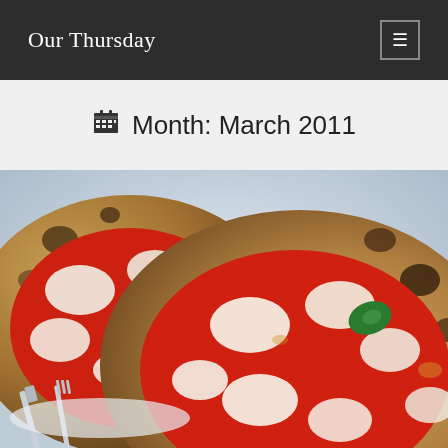Our Thursday
Month: March 2011
[Figure (photo): Close-up photograph of two Neapolitan-style margherita pizzas with tomato sauce, melted mozzarella cheese, and a basil leaf, served on a table with silverware visible in the lower left.]